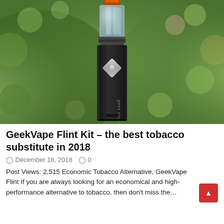[Figure (photo): Photo of a GeekVape Flint vape device (black cylindrical mod with clear tank and silver fire button) on a green blurred plant background]
GeekVape Flint Kit – the best tobacco substitute in 2018
December 18, 2018    0
Post Views: 2,515 Economic Tobacco Alternative, GeekVape Flint If you are always looking for an economical and high-performance alternative to tobacco, then don't miss the...